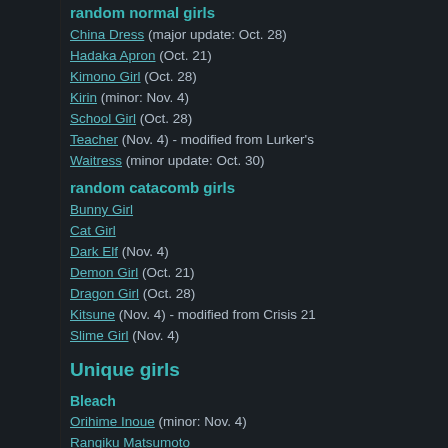random normal girls
China Dress (major update: Oct. 28)
Hadaka Apron (Oct. 21)
Kimono Girl (Oct. 28)
Kirin (minor: Nov. 4)
School Girl (Oct. 28)
Teacher (Nov. 4) - modified from Lurker's
Waitress (minor update: Oct. 30)
random catacomb girls
Bunny Girl
Cat Girl
Dark Elf (Nov. 4)
Demon Girl (Oct. 21)
Dragon Girl (Oct. 28)
Kitsune (Nov. 4) - modified from Crisis 21
Slime Girl (Nov. 4)
Unique girls
Bleach
Orihime Inoue (minor: Nov. 4)
Rangiku Matsumoto
Rukia Kuchiki